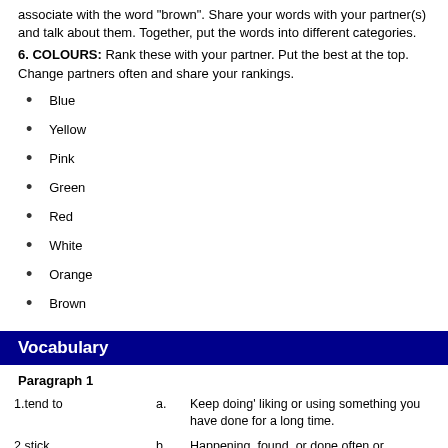associate with the word "brown". Share your words with your partner(s) and talk about them. Together, put the words into different categories.
6. COLOURS: Rank these with your partner. Put the best at the top. Change partners often and share your rankings.
Blue
Yellow
Pink
Green
Red
White
Orange
Brown
Vocabulary
Paragraph 1
| Term | Letter | Definition |
| --- | --- | --- |
| 1.tend to | a. | Keep doing' liking or using something you have done for a long time. |
| 2.stick | b. | Happening, found, or done often or everywhere. |
| 3.throughout | c. | Regularly or frequently behave in a particular way. |
| 4.common | d. | The bigger number of. |
| 5.main | e. | Most important. |